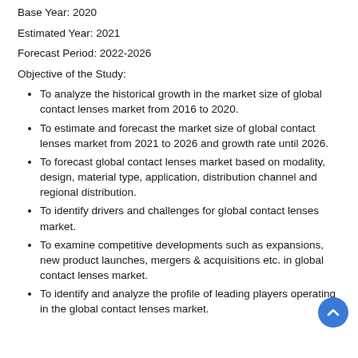Base Year: 2020
Estimated Year: 2021
Forecast Period: 2022-2026
Objective of the Study:
To analyze the historical growth in the market size of global contact lenses market from 2016 to 2020.
To estimate and forecast the market size of global contact lenses market from 2021 to 2026 and growth rate until 2026.
To forecast global contact lenses market based on modality, design, material type, application, distribution channel and regional distribution.
To identify drivers and challenges for global contact lenses market.
To examine competitive developments such as expansions, new product launches, mergers & acquisitions etc. in global contact lenses market.
To identify and analyze the profile of leading players operating in the global contact lenses market.